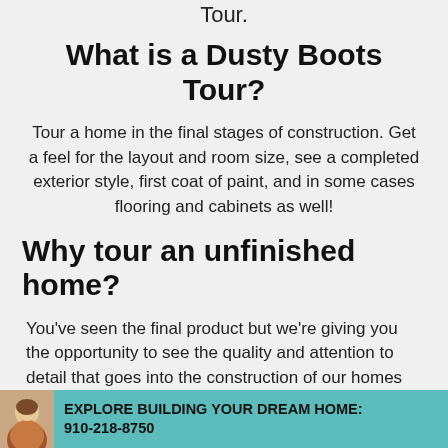Tour.
What is a Dusty Boots Tour?
Tour a home in the final stages of construction. Get a feel for the layout and room size, see a completed exterior style, first coat of paint, and in some cases flooring and cabinets as well!
Why tour an unfinished home?
You've seen the final product but we're giving you the opportunity to see the quality and attention to detail that goes into the construction of our homes before the finishing touches are added. When you tour, you'll
EXPLORE BUILDING YOUR DREAM HOME: 910-218-8750